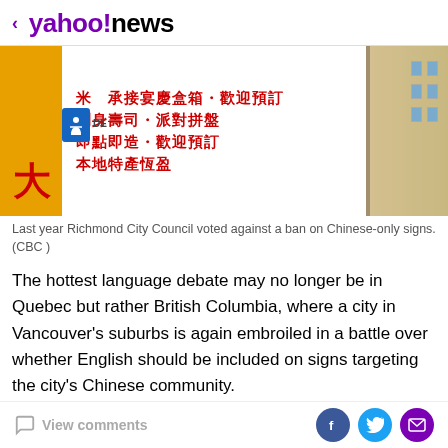< yahoo!news
[Figure (photo): A photo of a Chinese-language restaurant sign with red characters on white background. The sign shows traditional Chinese text advertising sushi, platters, and local specialties. A yellow sign with a large Chinese character is visible on the left, along with a blue accessibility sign. A building is visible on the right edge.]
Last year Richmond City Council voted against a ban on Chinese-only signs. (CBC )
The hottest language debate may no longer be in Quebec but rather British Columbia, where a city in Vancouver's suburbs is again embroiled in a battle over whether English should be included on signs targeting the city's Chinese community.
And thanks to the impending municipal election, the language debate has received a higher profile than ever
View comments